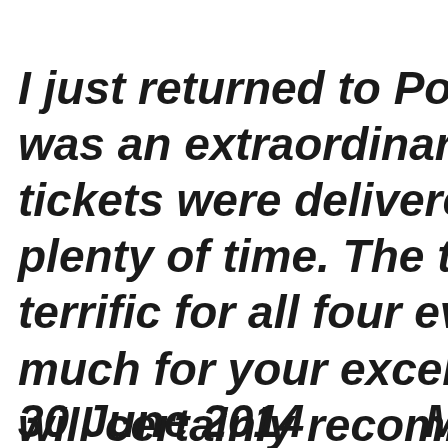I just returned to Portugal from was an extraordinary experienc tickets were delivered to the sh plenty of time. The theater seats terrific for all four events. Thank much for your excellent service will certainly recommend you to going to Russia!
30 June 2014      Michael, Port